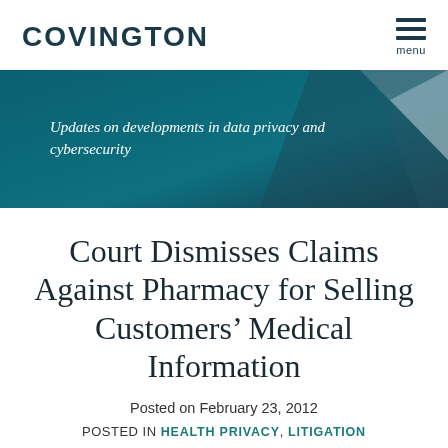COVINGTON
[Figure (other): Teal/dark blue geometric banner with italic text: Updates on developments in data privacy and cybersecurity]
Court Dismisses Claims Against Pharmacy for Selling Customers’ Medical Information
Posted on February 23, 2012
POSTED IN HEALTH PRIVACY, LITIGATION